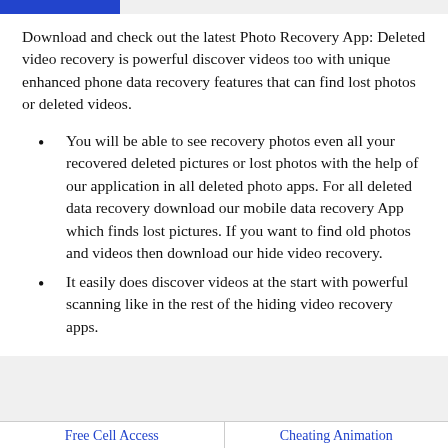Download and check out the latest Photo Recovery App: Deleted video recovery is powerful discover videos too with unique enhanced phone data recovery features that can find lost photos or deleted videos.
You will be able to see recovery photos even all your recovered deleted pictures or lost photos with the help of our application in all deleted photo apps. For all deleted data recovery download our mobile data recovery App which finds lost pictures. If you want to find old photos and videos then download our hide video recovery.
It easily does discover videos at the start with powerful scanning like in the rest of the hiding video recovery apps.
Free Cell Access   Cheating Animation